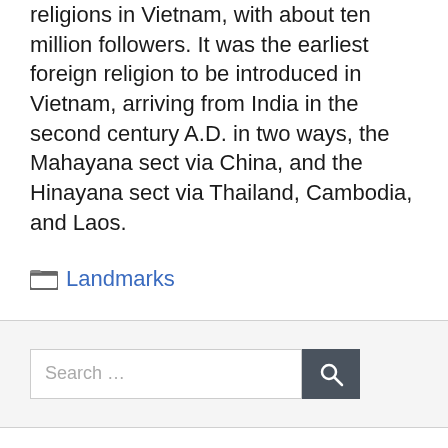religions in Vietnam, with about ten million followers. It was the earliest foreign religion to be introduced in Vietnam, arriving from India in the second century A.D. in two ways, the Mahayana sect via China, and the Hinayana sect via Thailand, Cambodia, and Laos.
Categories: Landmarks
[Figure (other): Search bar with text field showing placeholder 'Search ...' and a dark grey search button with magnifying glass icon]
From the author